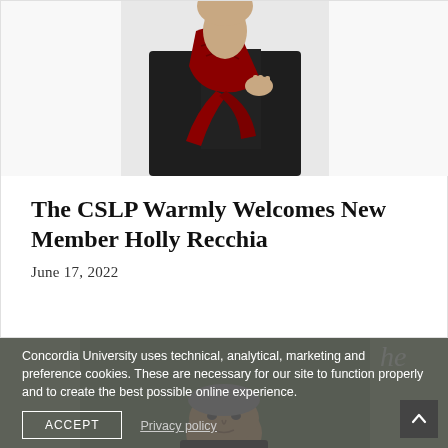[Figure (photo): Partial photo of a person wearing a black outfit with a red patterned scarf/wrap, holding it with one hand, shown from roughly the chest up against a white background.]
The CSLP Warmly Welcomes New Member Holly Recchia
June 17, 2022
[Figure (photo): Outdoor photo showing the bottom portion with a man's face visible and storefront windows in the background. Partially obscured by a cookie consent overlay.]
Concordia University uses technical, analytical, marketing and preference cookies. These are necessary for our site to function properly and to create the best possible online experience.
ACCEPT
Privacy policy